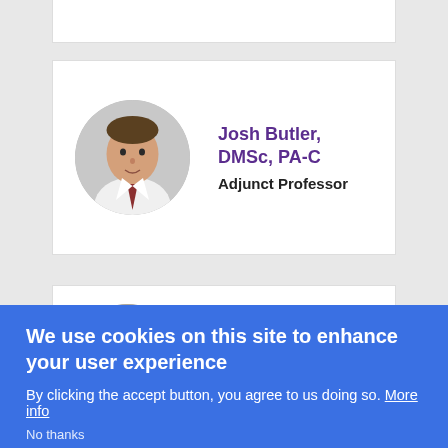[Figure (photo): Headshot of Josh Butler in white coat, circular crop]
Josh Butler, DMSc, PA-C
Adjunct Professor
[Figure (photo): Headshot of Gloria Casalnuovo Debeljuk, circular crop]
Gloria Casalnuovo Debeljuk, MD, LCSW, MSW
We use cookies on this site to enhance your user experience
By clicking the accept button, you agree to us doing so. More info
No thanks
Accept